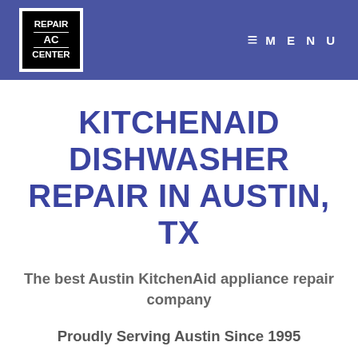REPAIR AC CENTER — MENU
KITCHENAID DISHWASHER REPAIR IN AUSTIN, TX
The best Austin KitchenAid appliance repair company
Proudly Serving Austin Since 1995